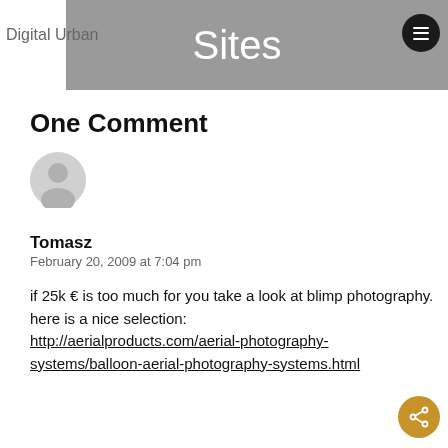Digital Urban
Sites
One Comment
[Figure (illustration): Generic user avatar circle icon in light gray]
Tomasz
February 20, 2009 at 7:04 pm
if 25k € is too much for you take a look at blimp photography. here is a nice selection: http://aerialproducts.com/aerial-photography-systems/balloon-aerial-photography-systems.html